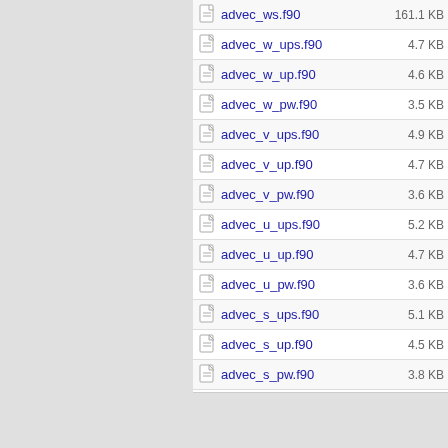advec_ws.f90 161.1 KB
advec_w_ups.f90 4.7 KB
advec_w_up.f90 4.6 KB
advec_w_pw.f90 3.5 KB
advec_v_ups.f90 4.9 KB
advec_v_up.f90 4.7 KB
advec_v_pw.f90 3.6 KB
advec_u_ups.f90 5.2 KB
advec_u_up.f90 4.7 KB
advec_u_pw.f90 3.6 KB
advec_s_ups.f90 5.1 KB
advec_s_up.f90 4.5 KB
advec_s_pw.f90 3.8 KB
advec_s_bc.f90 43.5 KB
advec_particles.f90 179.7 KB
Property svn:ignore set to palm_sources.tar
Property svn:mergeinfo set to
/palm/branches/suehring 423-666